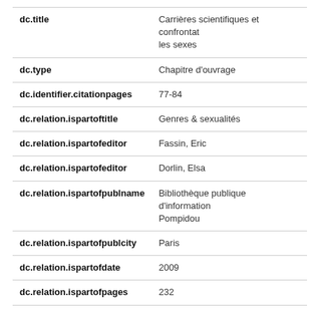| Field | Value |
| --- | --- |
| dc.title | Carrières scientifiques et confrontat les sexes |
| dc.type | Chapitre d'ouvrage |
| dc.identifier.citationpages | 77-84 |
| dc.relation.ispartoftitle | Genres & sexualités |
| dc.relation.ispartofeditor | Fassin, Eric |
| dc.relation.ispartofeditor | Dorlin, Elsa |
| dc.relation.ispartofpublname | Bibliothèque publique d'information Pompidou |
| dc.relation.ispartofpublcity | Paris |
| dc.relation.ispartofdate | 2009 |
| dc.relation.ispartofpages | 232 |
| dc.subject.ddclabel | Sociologie économique |